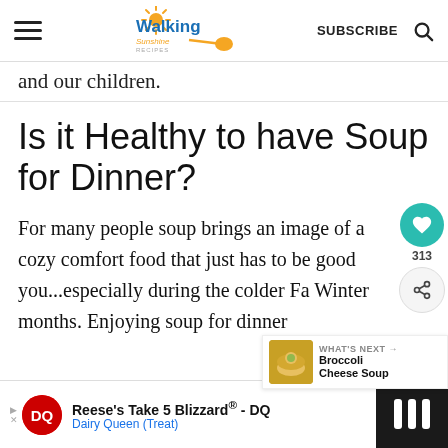Walking Sunshine Recipes — SUBSCRIBE
and our children.
Is it Healthy to have Soup for Dinner?
For many people soup brings an image of a cozy comfort food that just has to be good you...especially during the colder Fall Winter months. Enjoying soup for dinner
[Figure (screenshot): Social sharing widget with heart button showing 313 likes and a share icon]
[Figure (infographic): What's Next panel showing Broccoli Cheese Soup]
[Figure (screenshot): Advertisement bar: Reese's Take 5 Blizzard - DQ, Dairy Queen (Treat)]